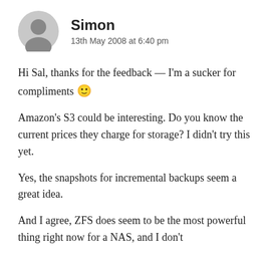[Figure (illustration): Generic gray user avatar icon (person silhouette in a circle)]
Simon
13th May 2008 at 6:40 pm
Hi Sal, thanks for the feedback — I'm a sucker for compliments 🙂
Amazon's S3 could be interesting. Do you know the current prices they charge for storage? I didn't try this yet.
Yes, the snapshots for incremental backups seem a great idea.
And I agree, ZFS does seem to be the most powerful thing right now for a NAS, and I don't